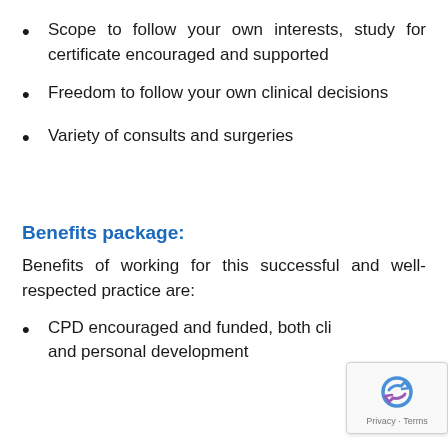Scope to follow your own interests, study for certificate encouraged and supported
Freedom to follow your own clinical decisions
Variety of consults and surgeries
Benefits package:
Benefits of working for this successful and well-respected practice are:
CPD encouraged and funded, both clinical and personal development